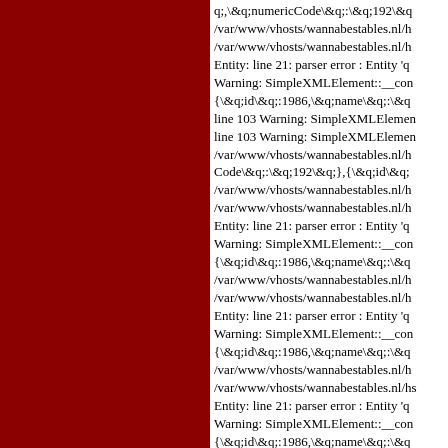[Figure (other): Dark red/maroon panel on the left side of the page, approximately half the width]
q;,\&q;numericCode\&q;:\&q;192\&q /var/www/vhosts/wannabestables.nl/h /var/www/vhosts/wannabestables.nl/h Entity: line 21: parser error : Entity 'q Warning: SimpleXMLElement::__con {\&q;id\&q;:1986,\&q;name\&q;:\&q line 103 Warning: SimpleXMLElemen line 103 Warning: SimpleXMLElemen /var/www/vhosts/wannabestables.nl/h Code\&q;:\&q;192\&q;},{\&q;id\&q; /var/www/vhosts/wannabestables.nl/h /var/www/vhosts/wannabestables.nl/h Entity: line 21: parser error : Entity 'q Warning: SimpleXMLElement::__con {\&q;id\&q;:1986,\&q;name\&q;:\&q /var/www/vhosts/wannabestables.nl/h /var/www/vhosts/wannabestables.nl/h Entity: line 21: parser error : Entity 'q Warning: SimpleXMLElement::__con {\&q;id\&q;:1986,\&q;name\&q;:\&q /var/www/vhosts/wannabestables.nl/h /var/www/vhosts/wannabestables.nl/h Entity: line 21: parser error : Entity 'q Warning: SimpleXMLElement::__con {\&q;id\&q;:1986,\&q;name\&q;:\&q